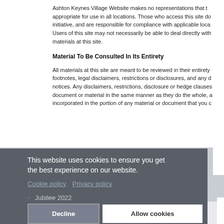Ashton Keynes Village Website makes no representations that the materials at this site are appropriate for use in all locations. Those who access this site do so on their own initiative, and are responsible for compliance with applicable local laws and regulations. Users of this site may not necessarily be able to deal directly with the providers of materials at this site.
Material To Be Consulted In Its Entirety
All materials at this site are meant to be reviewed in their entirety, including any footnotes, legal disclaimers, restrictions or disclosures, and any copyright or proprietary notices. Any disclaimers, restrictions, disclosure or hedge clauses applicable to any part of a document or material in the same manner as they do the whole, and will be deemed incorporated in the portion of any material or document that you choose to print or download.
This website uses cookies to ensure you get the best experience on our website. Cookie policy  Privacy policy
Jubilee 2022
Event Calendar
Local Directory